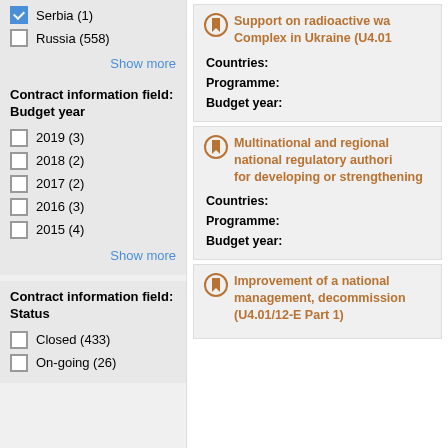Serbia (1)
Russia (558)
Show more
Contract information field: Budget year
2019 (3)
2018 (2)
2017 (2)
2016 (3)
2015 (4)
Show more
Contract information field: Status
Closed (433)
On-going (26)
Support on radioactive wa Complex in Ukraine (U4.01
Countries:
Programme:
Budget year:
Multinational and regional national regulatory authori for developing or strengthening
Countries:
Programme:
Budget year:
Improvement of a national management, decommission (U4.01/12-E Part 1)